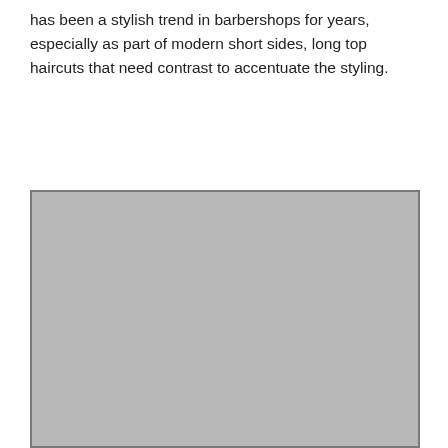has been a stylish trend in barbershops for years, especially as part of modern short sides, long top haircuts that need contrast to accentuate the styling.
[Figure (photo): A large placeholder image block with a gray fill and dark gray border, representing a photograph.]